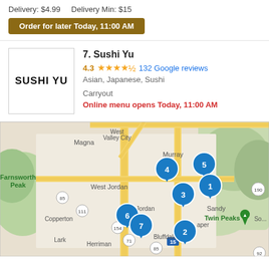Delivery: $4.99    Delivery Min: $15
Order for later Today, 11:00 AM
7. Sushi Yu
4.3 ★★★★½ 132 Google reviews
Asian, Japanese, Sushi
Carryout
Online menu opens Today, 11:00 AM
[Figure (map): Map of Salt Lake City area (Utah) showing numbered restaurant location pins 1-7 placed around the West Jordan, Murray, Sandy, South Jordan, Herriman, and Bluffdale areas. Landmarks include Magna, West Valley City, Murray, Farnsworth Peak, Copperton, Lark, Herriman, Bluffdale, Sandy, Twin Peaks, and highway markers 85, 111, 154, 71, 15, 190, 92.]